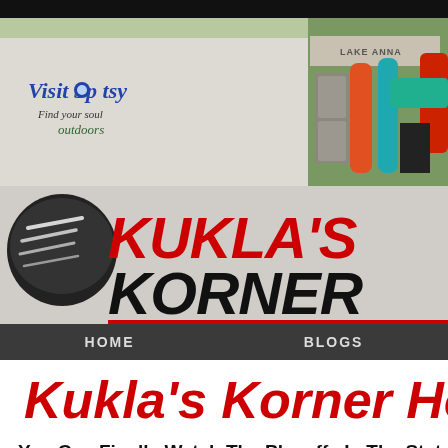[Figure (screenshot): Visit Spotsy outdoor sports shop header image with kayaks and Lake Anna sign]
[Figure (logo): Kukla's Korner hockey logo with puck graphic and bold italic text]
HOME    BLOGS
Kukla's Korner Hocke
You Can Finally Watch The Playoffs In The State
by Paul on 05/18/12 at 12:44 AM ET
Comments (4)